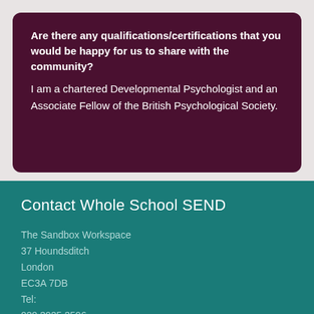Are there any qualifications/certifications that you would be happy for us to share with the community? I am a chartered Developmental Psychologist and an Associate Fellow of the British Psychological Society.
Contact Whole School SEND
The Sandbox Workspace
37 Houndsditch
London
EC3A 7DB
Tel:
020 3925 3596